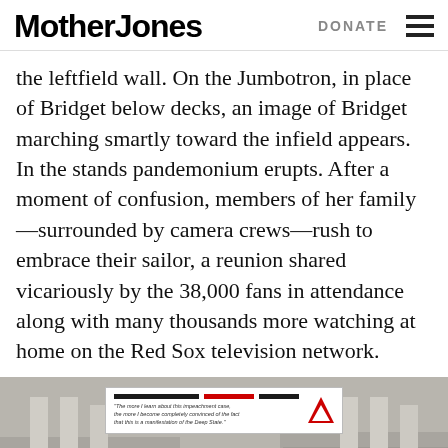Mother Jones | DONATE
the leftfield wall. On the Jumbotron, in place of Bridget below decks, an image of Bridget marching smartly toward the infield appears. In the stands pandemonium erupts. After a moment of confusion, members of her family—surrounded by camera crews—rush to embrace their sailor, a reunion shared vicariously by the 38,000 fans in attendance along with many thousands more watching at home on the Red Sox television network.
[Figure (screenshot): Advertisement for BananaRepublicards.com showing a court building steps in background, an ad card with text and logo in the middle, and an orange and white text banner at the bottom reading BananaRepublicards.com]